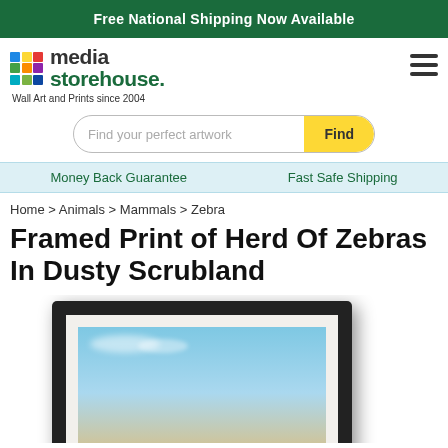Free National Shipping Now Available
[Figure (logo): Media Storehouse logo with colorful grid squares and text 'media storehouse. Wall Art and Prints since 2004']
Find your perfect artwork
Money Back Guarantee    Fast Safe Shipping
Home > Animals > Mammals > Zebra
Framed Print of Herd Of Zebras In Dusty Scrubland
[Figure (photo): Partial view of a framed print showing a black frame with white mat, containing an image with blue sky and landscape, depicting a herd of zebras in dusty scrubland]